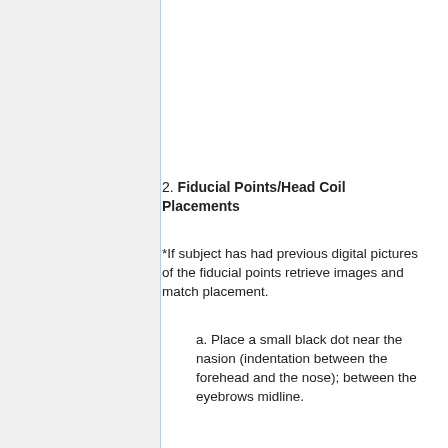2. Fiducial Points/Head Coil Placements
*If subject has had previous digital pictures of the fiducial points retrieve images and match placement.
a. Place a small black dot near the nasion (indentation between the forehead and the nose); between the eyebrows midline.